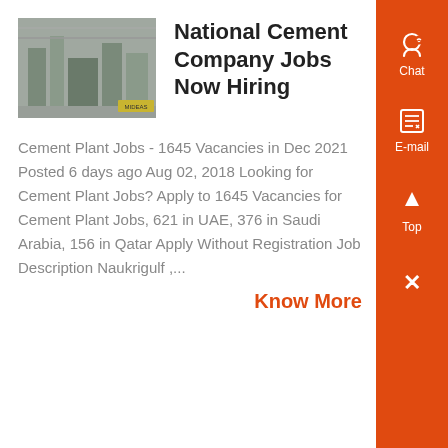[Figure (photo): Industrial cement plant interior photo]
National Cement Company Jobs Now Hiring
Cement Plant Jobs - 1645 Vacancies in Dec 2021 Posted 6 days ago Aug 02, 2018 Looking for Cement Plant Jobs? Apply to 1645 Vacancies for Cement Plant Jobs, 621 in UAE, 376 in Saudi Arabia, 156 in Qatar Apply Without Registration Job Description Naukrigulf ,...
Know More